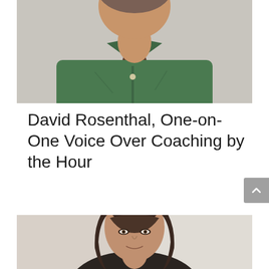[Figure (photo): Headshot of David Rosenthal, a middle-aged man wearing a green collared shirt, photographed from torso up against a light grey wall.]
David Rosenthal, One-on-One Voice Over Coaching by the Hour
[Figure (photo): Headshot of a woman with long dark brown hair and bangs, photographed from shoulders up against a blurred light background.]